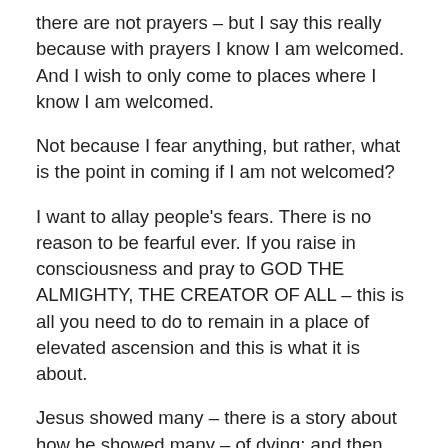there are not prayers – but I say this really because with prayers I know I am welcomed. And I wish to only come to places where I know I am welcomed.
Not because I fear anything, but rather, what is the point in coming if I am not welcomed?
I want to allay people's fears. There is no reason to be fearful ever. If you raise in consciousness and pray to GOD THE ALMIGHTY, THE CREATOR OF ALL – this is all you need to do to remain in a place of elevated ascension and this is what it is about.
Jesus showed many – there is a story about how he showed many – of dying; and then, raising his body three days later; and in a way that is what I